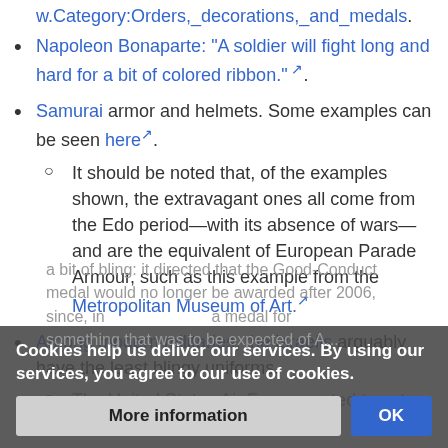w.Category:Orders,_decorations,_and_medals.
Napoleon Bonaparte: "A soldier will fight long and hard for a bit of colored ribbon." [ext link].
Samurai armor and helmets. Some examples can be seen here [ext link].
It should be noted that, of the examples shown, the extravagant ones all come from the Edo period—with its absence of wars—and are the equivalent of European Parade Armour, such as this example from the Metropolitan Museum of Art. [ext link]
Among modern militaries, the Israelis arguably have the least blingy uniforms.
The United States Air Force wanted to cut down on a bit of bling: it directed that the Good-Conduct medal would no longer be awarded after 2006, since, in... a medal for something that was to be expected of A...
Cookies help us deliver our services. By using our services, you agree to our use of cookies.